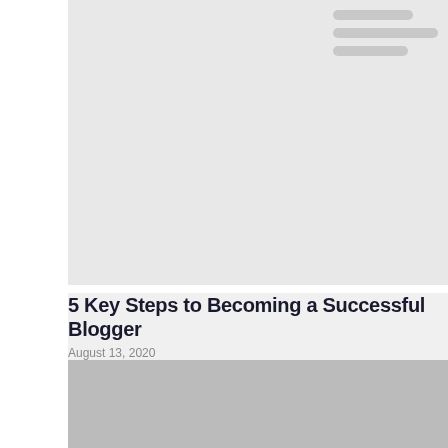[Figure (screenshot): Light gray header/banner area with hamburger menu icon in top-right corner showing three rounded gray lines of varying widths]
5 Key Steps to Becoming a Successful Blogger
August 13, 2020
[Figure (photo): Gray image/photo placeholder area at bottom of page]